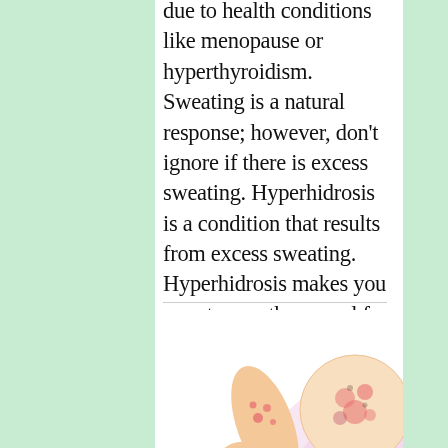due to health conditions like menopause or hyperthyroidism. Sweating is a natural response; however, don't ignore if there is excess sweating. Hyperhidrosis is a condition that results from excess sweating. Hyperhidrosis makes you sweat more than usual for no apparent reason. Cause of Excessive Sweating The underlyin
[Figure (illustration): Medical illustration showing a human arm/hand with red spots/rash on it, alongside a large magnified circular close-up view of the skin rash showing red spots. A pink triangular shape connects the arm to the magnified circle, indicating the area being zoomed in on.]